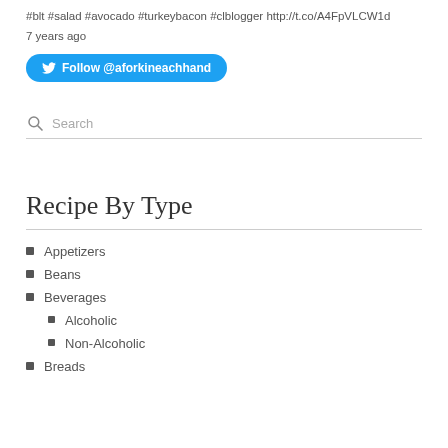#blt #salad #avocado #turkeybacon #clblogger http://t.co/A4FpVLCW1d
7 years ago
Follow @aforkineachhand
Search
Recipe By Type
Appetizers
Beans
Beverages
Alcoholic
Non-Alcoholic
Breads